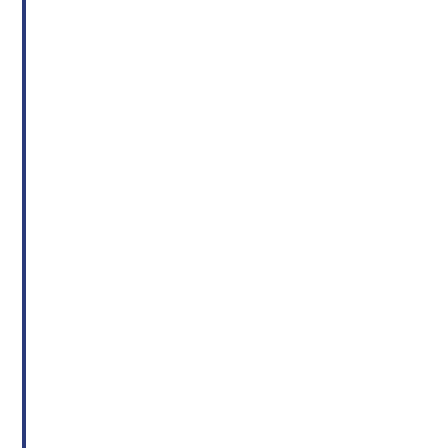how you can help the village reduce its operating costs for the water treatment plant. This is important because it's safe to say none want to pay higher sewer and water bills. This is followed by the and a list of water softener dealers/plumbers you can contact for inspection.
St. Nazianz Police Procedures
The Village of St. Nazianz has adopted a written set of police procedures that has been posted on this website so that residents can be informed as to expect should a call to the police result in the use of force to detain a person. Click on Police Procedures to check it out. It will remain on the website under the "Goverment" tab.
Payments to the Village
Payments or correspondence to the Village of St. Nazianz can be placed in the drop box in front of the Village Shop at 110 Colonial Drive. If you prefer mailing, the address is: PO Box 302, Saint Nazianz, WI 54232.